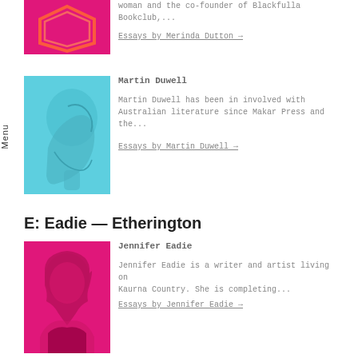[Figure (photo): Pink/magenta tinted photo of Merinda Dutton showing an abstract hexagon shape on pink background]
woman and the co-founder of Blackfulla Bookclub,...
Essays by Merinda Dutton →
[Figure (photo): Cyan/light blue tinted portrait photo of Martin Duwell in profile]
Martin Duwell
Martin Duwell has been in involved with Australian literature since Makar Press and the...
Essays by Martin Duwell →
E: Eadie — Etherington
[Figure (photo): Pink/magenta tinted portrait photo of Jennifer Eadie, a woman with long hair]
Jennifer Eadie
Jennifer Eadie is a writer and artist living on Kaurna Country. She is completing...
Essays by Jennifer Eadie →